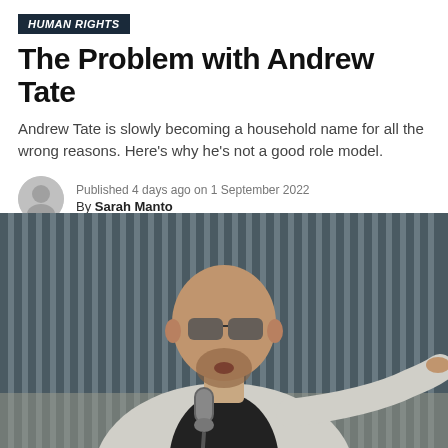HUMAN RIGHTS
The Problem with Andrew Tate
Andrew Tate is slowly becoming a household name for all the wrong reasons. Here's why he's not a good role model.
Published 4 days ago on 1 September 2022
By Sarah Manto
[Figure (photo): A bald man wearing sunglasses and a light grey blazer over a black shirt, speaking into a microphone and pointing with his right hand, seated outdoors with a wooden fence in the background.]